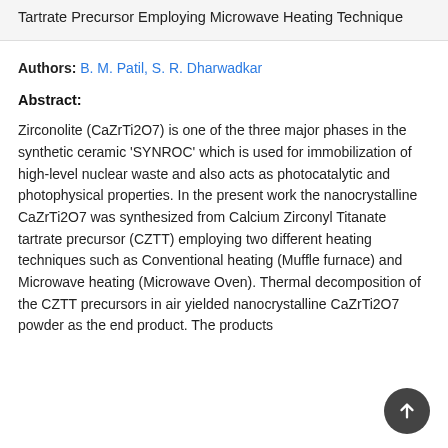Tartrate Precursor Employing Microwave Heating Technique
Authors: B. M. Patil, S. R. Dharwadkar
Abstract:
Zirconolite (CaZrTi2O7) is one of the three major phases in the synthetic ceramic 'SYNROC' which is used for immobilization of high-level nuclear waste and also acts as photocatalytic and photophysical properties. In the present work the nanocrystalline CaZrTi2O7 was synthesized from Calcium Zirconyl Titanate tartrate precursor (CZTT) employing two different heating techniques such as Conventional heating (Muffle furnace) and Microwave heating (Microwave Oven). Thermal decomposition of the CZTT precursors in air yielded nanocrystalline CaZrTi2O7 powder as the end product. The products